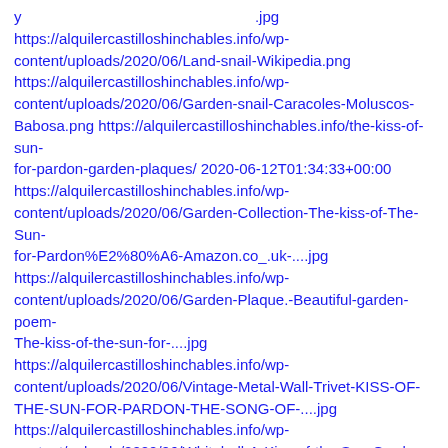https://alquilercastilloshinchables.info/wp-content/uploads/2020/06/Land-snail-Wikipedia.png https://alquilercastilloshinchables.info/wp-content/uploads/2020/06/Garden-snail-Caracoles-Moluscos-Babosa.png https://alquilercastilloshinchables.info/the-kiss-of-sun-for-pardon-garden-plaques/ 2020-06-12T01:34:33+00:00 https://alquilercastilloshinchables.info/wp-content/uploads/2020/06/Garden-Collection-The-kiss-of-The-Sun-for-Pardon%E2%80%A6-Amazon.co_.uk-....jpg https://alquilercastilloshinchables.info/wp-content/uploads/2020/06/Garden-Plaque.-Beautiful-garden-poem-The-kiss-of-the-sun-for-....jpg https://alquilercastilloshinchables.info/wp-content/uploads/2020/06/Vintage-Metal-Wall-Trivet-KISS-OF-THE-SUN-FOR-PARDON-THE-SONG-OF-....jpg https://alquilercastilloshinchables.info/wp-content/uploads/2020/06/Whitehall-A-Kiss-of-the-Sun-Garden-Poem-Sign-%E2%80%93-Gardensgreen.jpg https://alquilercastilloshinchables.info/wp-content/uploads/2020/06/The-Kiss-of-the-Sun-for-Pardon-Slate-Gate-House-Plaque-Sign-2-....jpg https://alquilercastilloshinchables.info/wp-content/uploads/2020/06/The-Kiss-of-the-Sun-for-Pardon-The-Song-of-the-Birds-for-Mirth-....jpg https://alquilercastilloshinchables.info/wp-